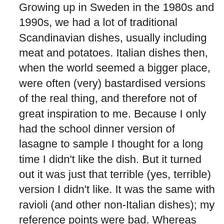Growing up in Sweden in the 1980s and 1990s, we had a lot of traditional Scandinavian dishes, usually including meat and potatoes. Italian dishes then, when the world seemed a bigger place, were often (very) bastardised versions of the real thing, and therefore not of great inspiration to me. Because I only had the school dinner version of lasagne to sample I thought for a long time I didn't like the dish. But it turned out it was just that terrible (yes, terrible) version I didn't like. It was the same with ravioli (and other non-Italian dishes); my reference points were bad. Whereas everything my mother (or grandmothers) cooked was always delicious, but more Scandinavian in heritage.

Now my relationship with Italian food is quite different. I have been to Italy a few times and tried the real thing, and also cooked proper Italian dishes at home. And the